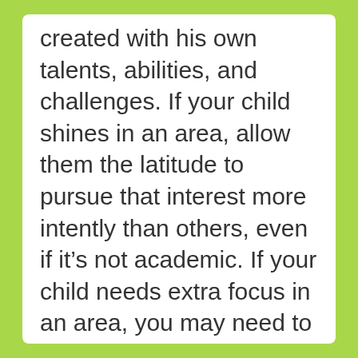created with his own talents, abilities, and challenges. If your child shines in an area, allow them the latitude to pursue that interest more intently than others, even if it's not academic. If your child needs extra focus in an area, you may need to remediate that area and let others go for a season. It's a mistake to try to focus on everything at once. Our gracious God doesn't do that with us, and we need to allow our